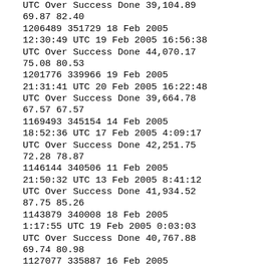UTC Over Success Done 39,104.89 69.87 82.40
1206489 351729 18 Feb 2005 12:30:49 UTC 19 Feb 2005 16:56:38 UTC Over Success Done 44,070.17 75.08 80.53
1201776 339966 19 Feb 2005 21:31:41 UTC 20 Feb 2005 16:22:48 UTC Over Success Done 39,664.78 67.57 67.57
1169493 345154 14 Feb 2005 18:52:36 UTC 17 Feb 2005 4:09:17 UTC Over Success Done 42,251.75 72.28 78.87
1146144 340506 11 Feb 2005 21:50:32 UTC 13 Feb 2005 8:41:12 UTC Over Success Done 41,934.52 87.75 85.26
1143879 340008 18 Feb 2005 1:17:55 UTC 19 Feb 2005 0:03:03 UTC Over Success Done 40,767.88 69.74 80.98
1127077 335887 16 Feb 2005 5:14:16 UTC 18 Feb 2005 1:17:55 UTC Over Success Done 43,029.91 73.61 76.66
1123247 334943 14 Feb 2005 0:54:36 UTC 15 Feb 2005 15:24:51 UTC Over Success Done 50,100.11